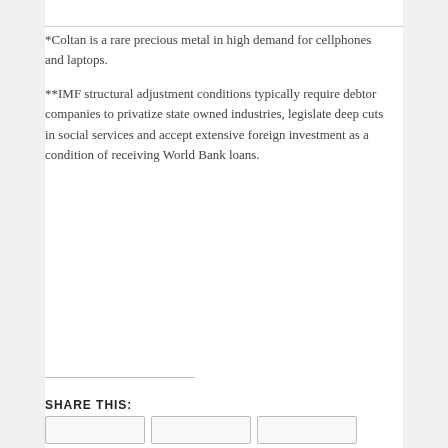*Coltan is a rare precious metal in high demand for cellphones and laptops.
**IMF structural adjustment conditions typically require debtor companies to privatize state owned industries, legislate deep cuts in social services and accept extensive foreign investment as a condition of receiving World Bank loans.
SHARE THIS: